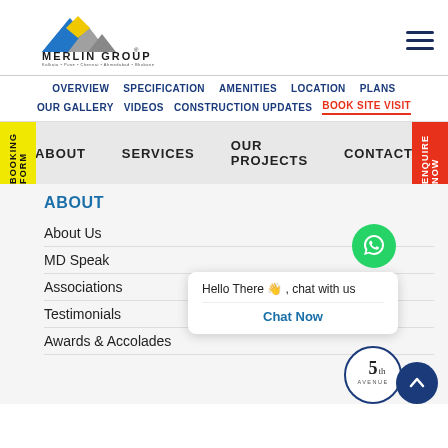[Figure (logo): Merlin Group logo with blue and yellow triangular mountains and tagline listing cities: Kolkata, Pune, Chennai, Ahmedabad, Bhubaneswar, Raipur]
OVERVIEW  SPECIFICATION  AMENITIES  LOCATION  PLANS
OUR GALLERY  VIDEOS  CONSTRUCTION UPDATES  BOOK SITE VISIT
ABOUT  SERVICES  OUR PROJECTS  CONTACT
ABOUT
About Us
MD Speak
Associations
Testimonials
Awards & Accolades
Hello There 👋 , chat with us
Chat Now